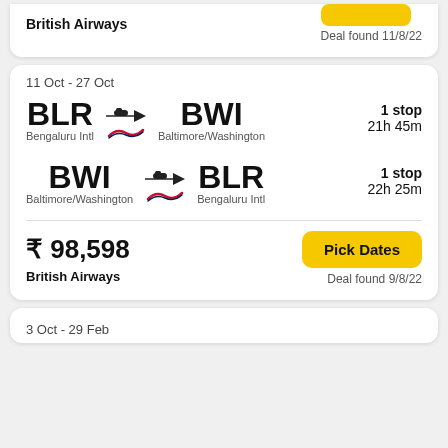British Airways
Deal found 11/8/22
11 Oct - 27 Oct
BLR → BWI | Bengaluru Intl → Baltimore/Washington | 1 stop | 21h 45m
BWI → BLR | Baltimore/Washington → Bengaluru Intl | 1 stop | 22h 25m
₹ 98,598
British Airways
Pick Dates
Deal found 9/8/22
3 Oct - 29 Feb